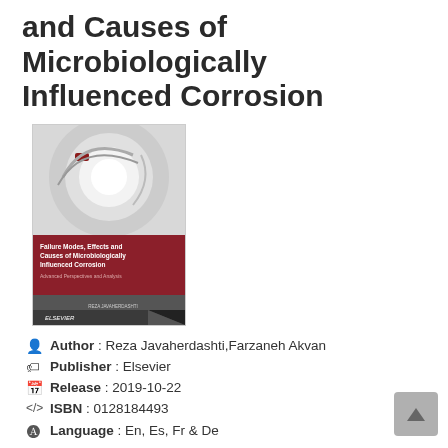and Causes of Microbiologically Influenced Corrosion
[Figure (photo): Book cover of 'Failure Modes, Effects and Causes of Microbiologically Influenced Corrosion' published by Elsevier, with a dark red and grey design featuring circular metallic imagery.]
Author : Reza Javaherdashti,Farzaneh Akvan
Publisher : Elsevier
Release : 2019-10-22
ISBN : 0128184493
Language : En, Es, Fr & De